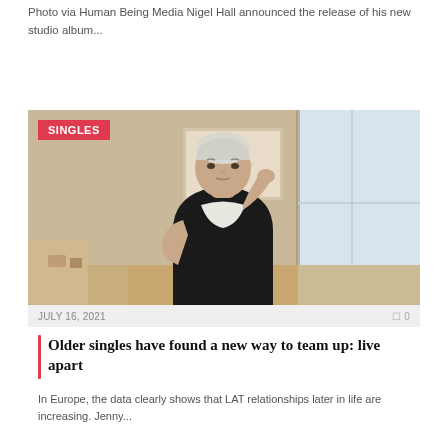Photo via Human Being Media Nigel Hall announced the release of his new studio album...
[Figure (photo): Older woman with short white hair seated at a table in a home interior, wearing black top over white shirt, hand resting near chin, framed artwork on wall behind her, with 'SINGLES' badge overlay]
JULY 16, 2021   0 0
Older singles have found a new way to team up: live apart
In Europe, the data clearly shows that LAT relationships later in life are increasing. Jenny...